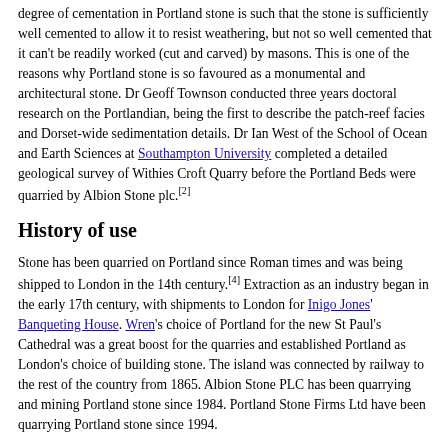degree of cementation in Portland stone is such that the stone is sufficiently well cemented to allow it to resist weathering, but not so well cemented that it can't be readily worked (cut and carved) by masons. This is one of the reasons why Portland stone is so favoured as a monumental and architectural stone. Dr Geoff Townson conducted three years doctoral research on the Portlandian, being the first to describe the patch-reef facies and Dorset-wide sedimentation details. Dr Ian West of the School of Ocean and Earth Sciences at Southampton University completed a detailed geological survey of Withies Croft Quarry before the Portland Beds were quarried by Albion Stone plc.[2]
History of use
Stone has been quarried on Portland since Roman times and was being shipped to London in the 14th century.[4] Extraction as an industry began in the early 17th century, with shipments to London for Inigo Jones' Banqueting House. Wren's choice of Portland for the new St Paul's Cathedral was a great boost for the quarries and established Portland as London's choice of building stone. The island was connected by railway to the rest of the country from 1865. Albion Stone PLC has been quarrying and mining Portland stone since 1984. Portland Stone Firms Ltd have been quarrying Portland stone since 1994.